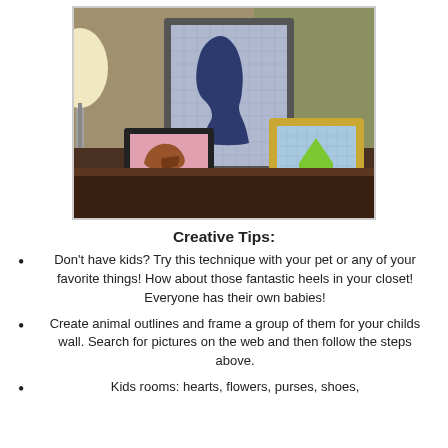[Figure (photo): A photo of three framed art pieces on a dark table: a large frame with a child silhouette on a grid background, a small black frame with a high-heel shoe on pink background, and a gold frame with a house shape on a blue grid background. A lamp is visible in the background.]
Creative Tips:
Don't have kids?  Try this technique with your pet or any of your favorite things!  How about those fantastic heels in your closet!  Everyone has their own babies!
Create animal outlines and frame a group of them for your childs wall.  Search for pictures on the web and then follow the steps above.
Kids rooms: hearts, flowers, purses, shoes,